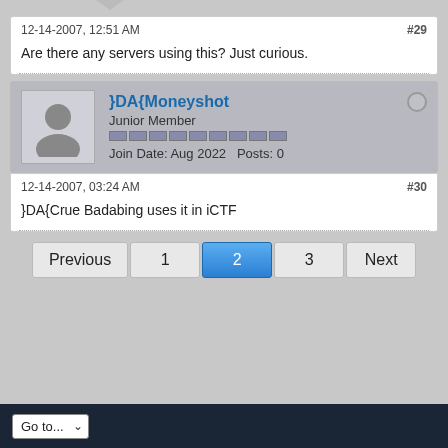12-14-2007, 12:51 AM
#29
Are there any servers using this? Just curious.
}DA{Moneyshot
Junior Member
Join Date: Aug 2022   Posts: 0
12-14-2007, 03:24 AM
#30
}DA{Crue Badabing uses it in iCTF
Previous
1
2
3
Next
Go to...